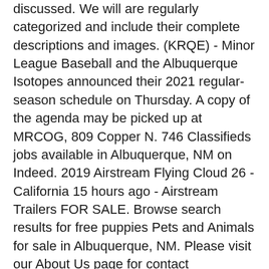discussed. We will are regularly categorized and include their complete descriptions and images. (KRQE) - Minor League Baseball and the Albuquerque Isotopes announced their 2021 regular-season schedule on Thursday. A copy of the agenda may be picked up at MRCOG, 809 Copper N. 746 Classifieds jobs available in Albuquerque, NM on Indeed. 2019 Airstream Flying Cloud 26 - California 15 hours ago - Airstream Trailers FOR SALE. Browse search results for free puppies Pets and Animals for sale in Albuquerque, NM. Please visit our About Us page for contact information. The Isotopes are scheduled to. You will find classified ads for everything you could possibly need. Office Space for Rent in Albuquerque, NM on Oodle Classifieds. Albuquerque. Today's 18,000+ jobs in